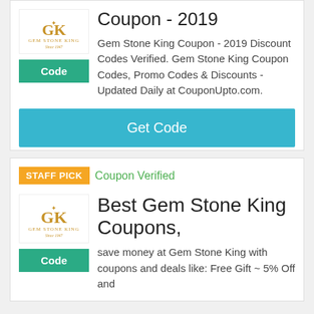Coupon - 2019
Gem Stone King Coupon - 2019 Discount Codes Verified. Gem Stone King Coupon Codes, Promo Codes & Discounts - Updated Daily at CouponUpto.com.
Get Code
STAFF PICK
Coupon Verified
Best Gem Stone King Coupons,
save money at Gem Stone King with coupons and deals like: Free Gift ~ 5% Off and